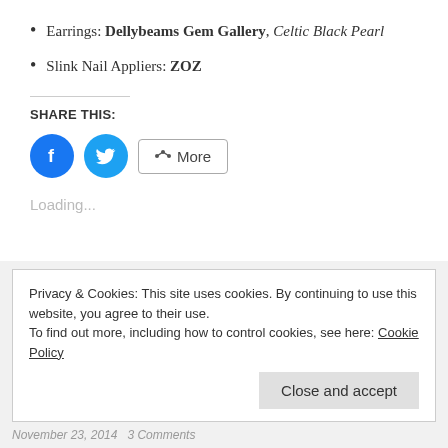Earrings: Dellybeams Gem Gallery, Celtic Black Pearl
Slink Nail Appliers: ZOZ
SHARE THIS:
[Figure (other): Social share buttons: Facebook circle, Twitter circle, and More button]
Loading...
Privacy & Cookies: This site uses cookies. By continuing to use this website, you agree to their use. To find out more, including how to control cookies, see here: Cookie Policy
November 23, 2014   3 Comments